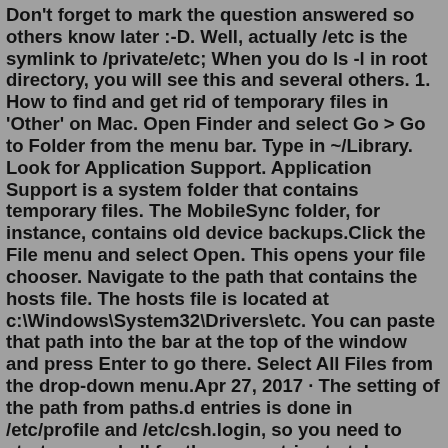Don't forget to mark the question answered so others know later :-D. Well, actually /etc is the symlink to /private/etc; When you do ls -l in root directory, you will see this and several others. 1. How to find and get rid of temporary files in 'Other' on Mac. Open Finder and select Go > Go to Folder from the menu bar. Type in ~/Library. Look for Application Support. Application Support is a system folder that contains temporary files. The MobileSync folder, for instance, contains old device backups.Click the File menu and select Open. This opens your file chooser. Navigate to the path that contains the hosts file. The hosts file is located at c:\Windows\System32\Drivers\etc. You can paste that path into the bar at the top of the window and press Enter to go there. Select All Files from the drop-down menu.Apr 27, 2017 · The setting of the path from paths.d entries is done in /etc/profile and /etc/csh.login, so you need to start a new shell for the new entries to take effect. OS X uses path_helper to set the path based on the files in /etc/paths.d - you can always call it manually (assuming a Bourne-like shell